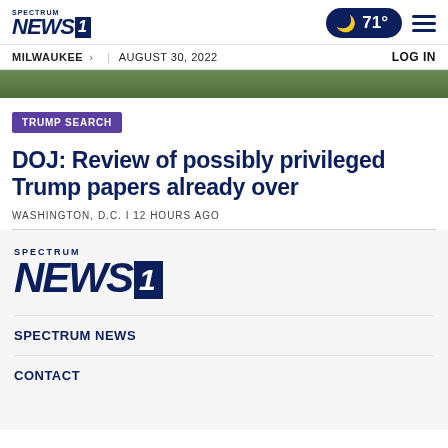SPECTRUM NEWS 1 | 71° | MILWAUKEE > | AUGUST 30, 2022 | LOG IN
[Figure (photo): Partial hero image showing greenery/trees at top of article]
TRUMP SEARCH
DOJ: Review of possibly privileged Trump papers already over
WASHINGTON, D.C. I 12 HOURS AGO
[Figure (logo): Spectrum News 1 footer logo, large version]
SPECTRUM NEWS
CONTACT